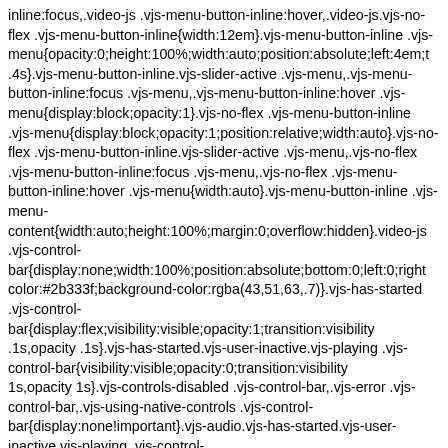inline:focus,.video-js .vjs-menu-button-inline:hover,.video-js.vjs-no-flex .vjs-menu-button-inline{width:12em}.vjs-menu-button-inline .vjs-menu{opacity:0;height:100%;width:auto;position:absolute;left:4em;t .4s}.vjs-menu-button-inline.vjs-slider-active .vjs-menu,.vjs-menu-button-inline:focus .vjs-menu,.vjs-menu-button-inline:hover .vjs-menu{display:block;opacity:1}.vjs-no-flex .vjs-menu-button-inline .vjs-menu{display:block;opacity:1;position:relative;width:auto}.vjs-no-flex .vjs-menu-button-inline.vjs-slider-active .vjs-menu,.vjs-no-flex .vjs-menu-button-inline:focus .vjs-menu,.vjs-no-flex .vjs-menu-button-inline:hover .vjs-menu{width:auto}.vjs-menu-button-inline .vjs-menu-content{width:auto;height:100%;margin:0;overflow:hidden}.video-js .vjs-control-bar{display:none;width:100%;position:absolute;bottom:0;left:0;right color:#2b333f;background-color:rgba(43,51,63,.7)}.vjs-has-started .vjs-control-bar{display:flex;visibility:visible;opacity:1;transition:visibility .1s,opacity .1s}.vjs-has-started.vjs-user-inactive.vjs-playing .vjs-control-bar{visibility:visible;opacity:0;transition:visibility 1s,opacity 1s}.vjs-controls-disabled .vjs-control-bar,.vjs-error .vjs-control-bar,.vjs-using-native-controls .vjs-control-bar{display:none!important}.vjs-audio.vjs-has-started.vjs-user-inactive.vjs-playing .vjs-control-